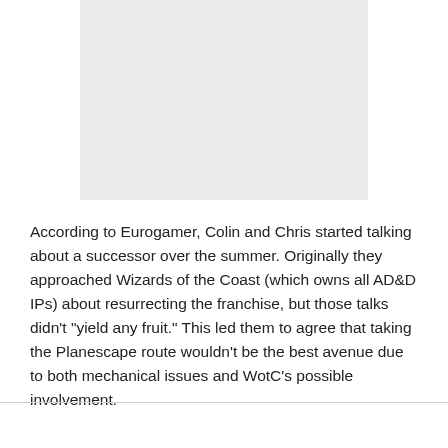[Figure (other): Light gray placeholder image box]
According to Eurogamer, Colin and Chris started talking about a successor over the summer. Originally they approached Wizards of the Coast (which owns all AD&D IPs) about resurrecting the franchise, but those talks didn't "yield any fruit." This led them to agree that taking the Planescape route wouldn't be the best avenue due to both mechanical issues and WotC's possible involvement.